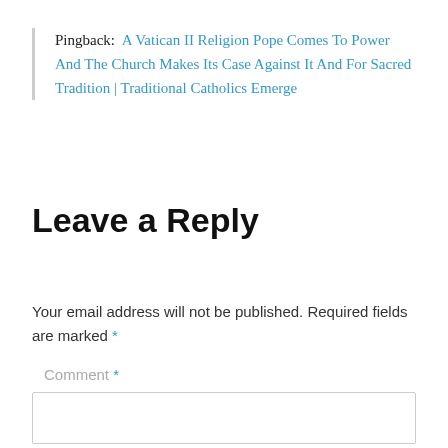Pingback: A Vatican II Religion Pope Comes To Power And The Church Makes Its Case Against It And For Sacred Tradition | Traditional Catholics Emerge
Leave a Reply
Your email address will not be published. Required fields are marked *
Comment *